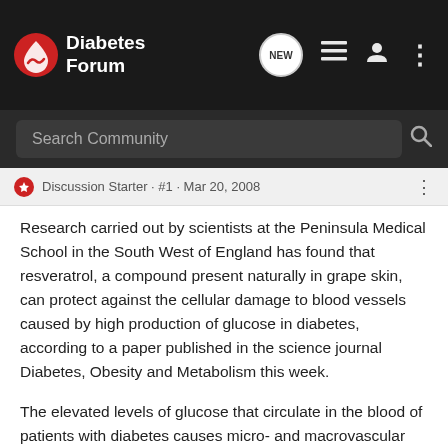Diabetes Forum
Search Community
Discussion Starter · #1 · Mar 20, 2008
Research carried out by scientists at the Peninsula Medical School in the South West of England has found that resveratrol, a compound present naturally in grape skin, can protect against the cellular damage to blood vessels caused by high production of glucose in diabetes, according to a paper published in the science journal Diabetes, Obesity and Metabolism this week.
The elevated levels of glucose that circulate in the blood of patients with diabetes causes micro- and macrovascular complications by damaging mitochondria, the tiny power plants within cells responsible for generating energy. When they are damaged they can leak electrons and make highly damaging 'free radicals'.